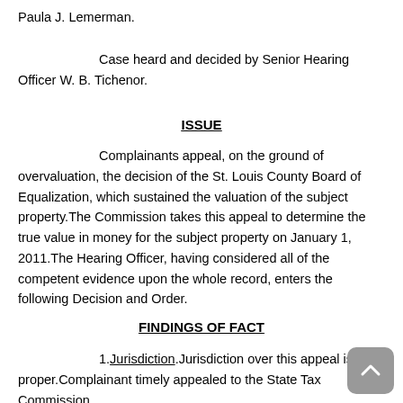Paula J. Lemerman.
Case heard and decided by Senior Hearing Officer W. B. Tichenor.
ISSUE
Complainants appeal, on the ground of overvaluation, the decision of the St. Louis County Board of Equalization, which sustained the valuation of the subject property.The Commission takes this appeal to determine the true value in money for the subject property on January 1, 2011.The Hearing Officer, having considered all of the competent evidence upon the whole record, enters the following Decision and Order.
FINDINGS OF FACT
1. Jurisdiction. Jurisdiction over this appeal is proper. Complainant timely appealed to the State Tax Commission